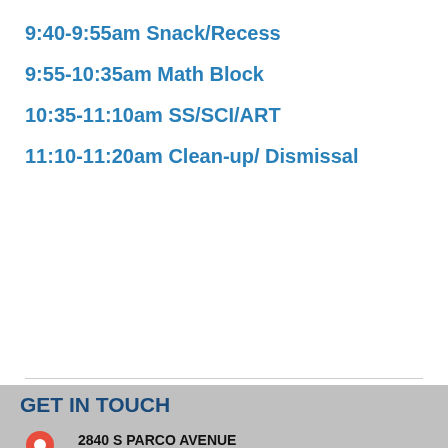9:40-9:55am Snack/Recess
9:55-10:35am Math Block
10:35-11:10am SS/SCI/ART
11:10-11:20am Clean-up/ Dismissal
GET IN TOUCH
2840 S PARCO AVENUE
ONTARIO, CA 91761
(909) 947-6693